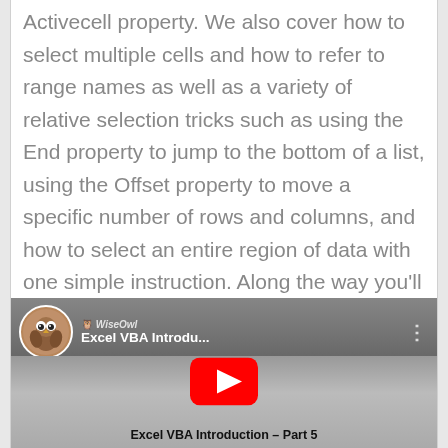Activecell property. We also cover how to select multiple cells and how to refer to range names as well as a variety of relative selection tricks such as using the End property to jump to the bottom of a list, using the Offset property to move a specific number of rows and columns, and how to select an entire region of data with one simple instruction. Along the way you'll also learn several techniques for formatting and modifying cells, as well as how to copy and paste data in VBA.
[Figure (screenshot): YouTube video thumbnail for 'Excel VBA Introdu...' featuring the Wise Owl logo (an owl mascot) and a red YouTube play button. Bottom text reads 'Excel VBA Introduction - Part 5'.]